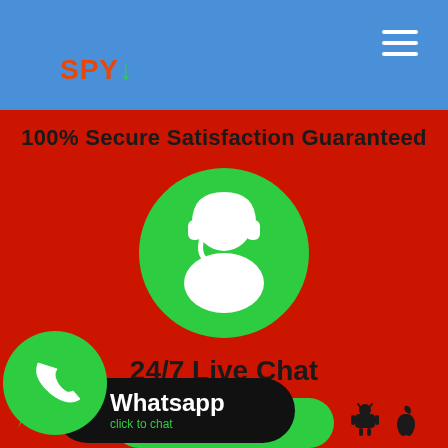SPY
100% Secure Satisfaction Guaranteed
[Figure (illustration): Green circle with white customer support agent silhouette wearing headset]
24/7 Live Chat
Buy Now
[Figure (logo): WhatsApp logo and Whatsapp click to chat banner with Android and Apple store icons]